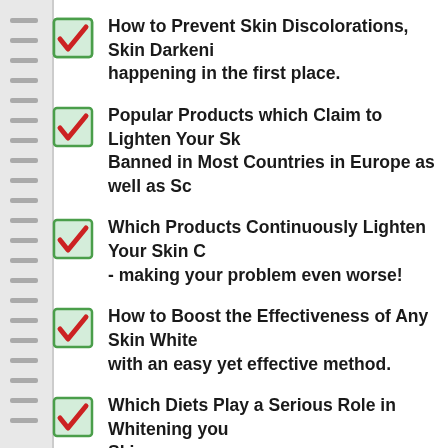How to Prevent Skin Discolorations, Skin Darkening from happening in the first place.
Popular Products which Claim to Lighten Your Skin are Banned in Most Countries in Europe as well as Some...
Which Products Continuously Lighten Your Skin Over... - making your problem even worse!
How to Boost the Effectiveness of Any Skin Whitening... with an easy yet effective method.
Which Diets Play a Serious Role in Whitening your Skin even more.
And... Much More!